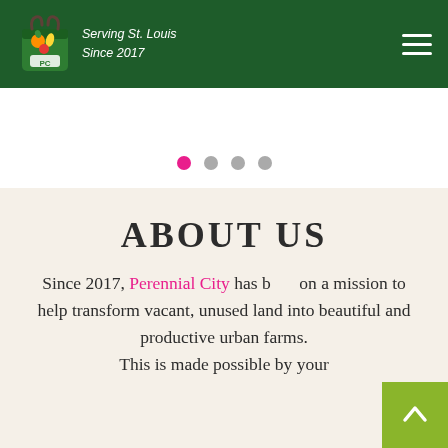Serving St. Louis Since 2017
[Figure (other): Slider navigation dots — one active pink dot and three grey dots]
ABOUT US
Since 2017, Perennial City has been on a mission to help transform vacant, unused land into beautiful and productive urban farms. This is made possible by your